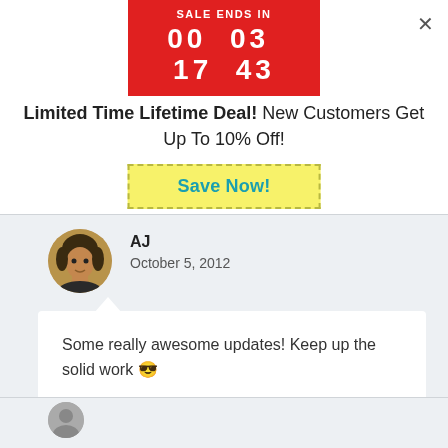[Figure (screenshot): Red countdown timer banner showing SALE ENDS IN 00 03 17 43]
Limited Time Lifetime Deal! New Customers Get Up To 10% Off!
[Figure (other): Yellow dashed button with teal text: Save Now!]
[Figure (photo): Circular avatar photo of user AJ]
AJ
October 5, 2012
Some really awesome updates! Keep up the solid work 😎
Reply